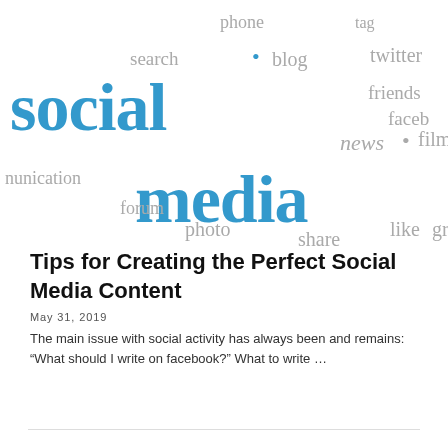[Figure (infographic): Social media word cloud featuring large blue text 'social media' with surrounding gray words: phone, tag, search, blog, twitter, friends, facebook, news, film, communication, forum, photo, share, like, group]
Tips for Creating the Perfect Social Media Content
May 31, 2019
The main issue with social activity has always been and remains: "What should I write on facebook?" What to write …